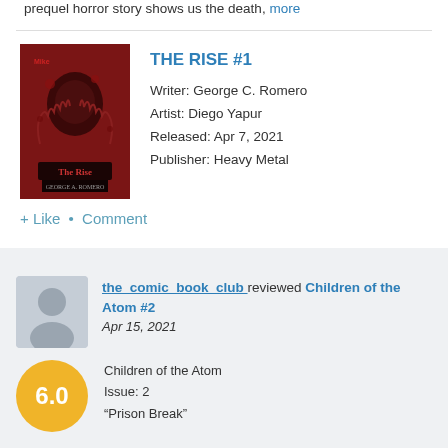prequel horror story shows us the death, more
[Figure (illustration): Comic book cover for THE RISE #1, dark red horror imagery with zombies/monsters]
THE RISE #1
Writer: George C. Romero
Artist: Diego Yapur
Released: Apr 7, 2021
Publisher: Heavy Metal
+ Like  •  Comment
the_comic_book_club reviewed Children of the Atom #2
Apr 15, 2021
6.0
Children of the Atom
Issue: 2
“Prison Break”

Publisher: Marvel @marvel
Writer: Vita Ayala @definitelyvita
Artist: Bernard Chang @thebernardchang